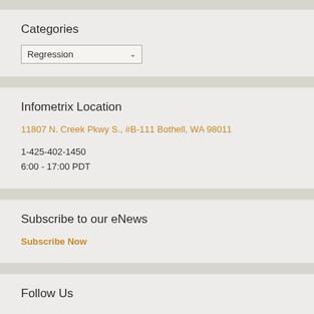Categories
Regression
Infometrix Location
11807 N. Creek Pkwy S., #B-111 Bothell, WA 98011
1-425-402-1450
6:00 - 17:00 PDT
Subscribe to our eNews
Subscribe Now
Follow Us